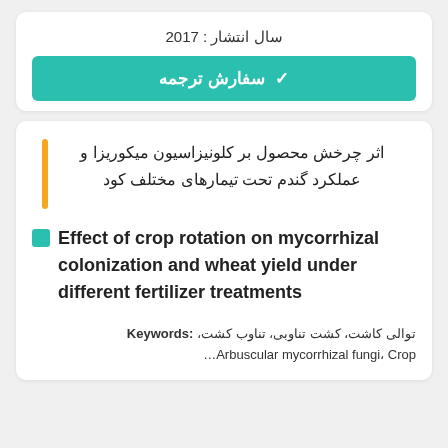سال انتشار : 2017
✔ سفارش ترجمه
اثر چرخش محصول بر کلونیزاسیون میکوریزا و عملکرد گندم تحت تیمارهای مختلف کود
Effect of crop rotation on mycorrhizal colonization and wheat yield under different fertilizer treatments
Keywords: توالی کاشت، کشت تناوبی، تناوب کشت، Arbuscular mycorrhizal fungi، Crop…